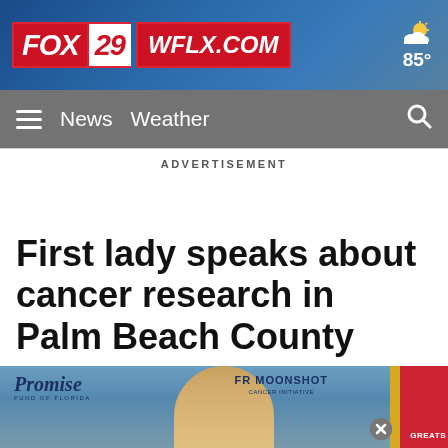FOX 29 WFLX.COM  85°
≡ News  Weather  🔍
ADVERTISEMENT
First lady speaks about cancer research in Palm Beach County
[Figure (photo): Bottom portion of a news article page showing a partial image with Promise Fund of Florida logo, FR MOONSHOT text, a blonde woman, a red and gold flag element, and a circular close button]